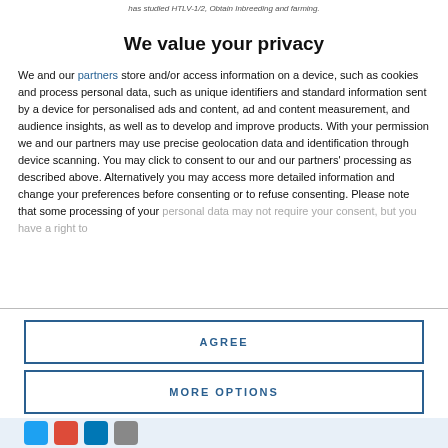has studied HTLV-1/2, Obtain Inbreeding and farming.
We value your privacy
We and our partners store and/or access information on a device, such as cookies and process personal data, such as unique identifiers and standard information sent by a device for personalised ads and content, ad and content measurement, and audience insights, as well as to develop and improve products. With your permission we and our partners may use precise geolocation data and identification through device scanning. You may click to consent to our and our partners' processing as described above. Alternatively you may access more detailed information and change your preferences before consenting or to refuse consenting. Please note that some processing of your personal data may not require your consent, but you have a right to
AGREE
MORE OPTIONS
[Figure (other): Social media icons at the bottom of the page]